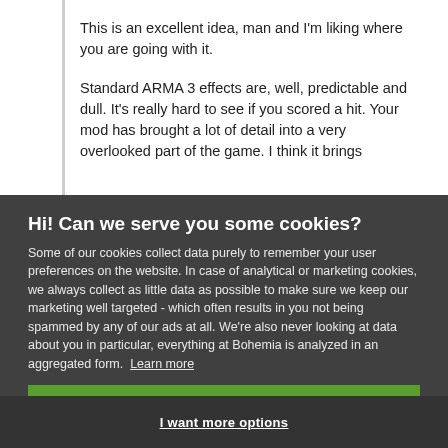This is an excellent idea, man and I'm liking where you are going with it.
Standard ARMA 3 effects are, well, predictable and dull. It's really hard to see if you scored a hit. Your mod has brought a lot of detail into a very overlooked part of the game. I think it brings
Hi! Can we serve you some cookies?
Some of our cookies collect data purely to remember your user preferences on the website. In case of analytical or marketing cookies, we always collect as little data as possible to make sure we keep our marketing well targeted - which often results in you not being spammed by any of our ads at all. We're also never looking at data about you in particular, everything at Bohemia is analyzed in an aggregated form. Learn more
Allow all cookies
I want more options